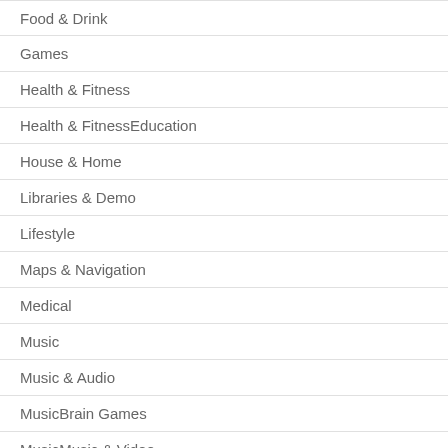Food & Drink
Games
Health & Fitness
Health & FitnessEducation
House & Home
Libraries & Demo
Lifestyle
Maps & Navigation
Medical
Music
Music & Audio
MusicBrain Games
MusicMusic & Video